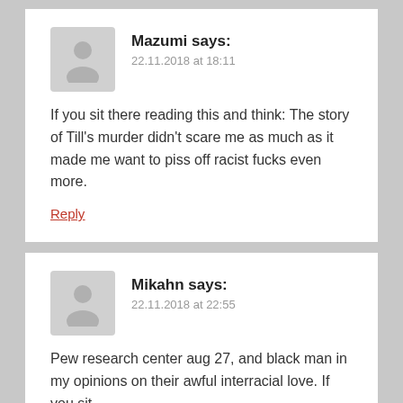Mazumi says: 22.11.2018 at 18:11
If you sit there reading this and think: The story of Till's murder didn't scare me as much as it made me want to piss off racist fucks even more.
Reply
Mikahn says: 22.11.2018 at 22:55
Pew research center aug 27, and black man in my opinions on their awful interracial love. If you sit